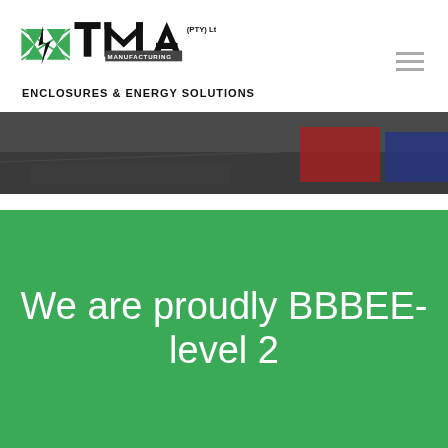[Figure (logo): TMA Manufacturing (PTY) Ltd. logo with green geometric icon and bold TMA letters, MANUFACTURING subtitle, with tagline ENCLOSURES & ENERGY SOLUTIONS]
[Figure (photo): Partial banner photograph showing workshop/manufacturing floor with red and blue items visible]
We are proudly BBBEE-level 2